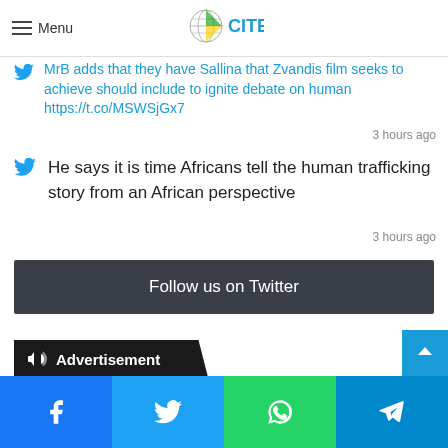Menu | CITE
MrB adds that they have Sallina that Zvandis film seeks to achieve should include to ignite debate on human trafficking https://t.co/MSWSjGx7
3 hours ago
He says it is time Africans tell the human trafficking story from an African perspective
3 hours ago
Follow us on Twitter
Advertisement
Facebook | Twitter | WhatsApp | Telegram